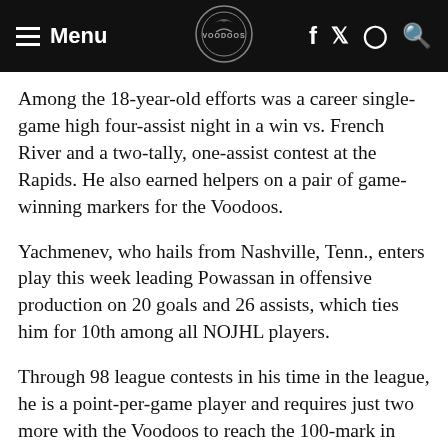Menu | Voodoos logo | f y o Q
Among the 18-year-old efforts was a career single-game high four-assist night in a win vs. French River and a two-tally, one-assist contest at the Rapids. He also earned helpers on a pair of game-winning markers for the Voodoos.
Yachmenev, who hails from Nashville, Tenn., enters play this week leading Powassan in offensive production on 20 goals and 26 assists, which ties him for 10th among all NOJHL players.
Through 98 league contests in his time in the league, he is a point-per-game player and requires just two more with the Voodoos to reach the 100-mark in both appearances and points while having scored 40 times and dishing out 58 helpers.
CALEB MINNS, (F) ELLIOT LAKE WILDCATS – Two games